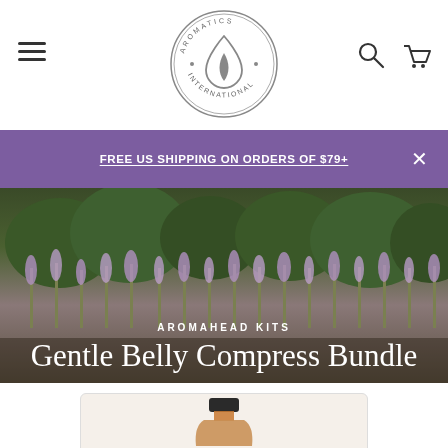Aromatics International navigation bar with hamburger menu, logo, search and cart icons
FREE US SHIPPING ON ORDERS OF $79+
[Figure (photo): Lavender field hero image with shrubs and purple flowers in background, text overlay reading AROMAHEAD KITS and Gentle Belly Compress Bundle]
AROMAHEAD KITS — Gentle Belly Compress Bundle
[Figure (photo): Amber glass bottle with dark cap, product photo on light beige background, partially visible]